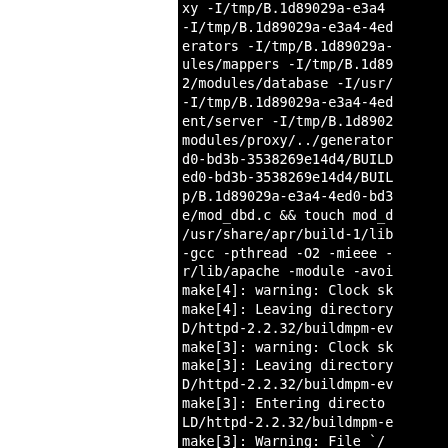xy -I/tmp/B.1d89029a-e3a4-
-I/tmp/B.1d89029a-e3a4-4ed
erators -I/tmp/B.1d89029a-
ules/mappers -I/tmp/B.1d89
2/modules/database -I/usr/
-I/tmp/B.1d89029a-e3a4-4ed
ent/server -I/tmp/B.1d8902
modules/proxy/../generator
d0-bd3b-3538269e14d4/BUILD
ed0-bd3b-3538269e14d4/BUIL
p/B.1d89029a-e3a4-4ed0-bd3
e/mod_dbd.c && touch mod_d
/usr/share/apr/build-1/lib
-gcc -pthread -O2 -mieee -
r/lib/apache -module -avoi
make[4]: warning: Clock sk
make[4]: Leaving directory
D/httpd-2.2.32/buildmpm-ev
make[3]: warning: Clock sk
make[3]: Leaving directory
D/httpd-2.2.32/buildmpm-ev
make[3]: Entering directo
LD/httpd-2.2.32/buildmpm-e
make[3]: Warning: File `/